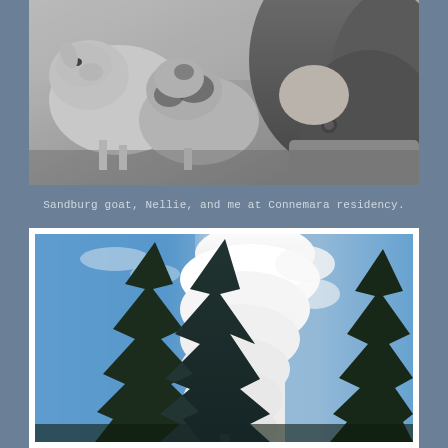[Figure (photo): Black and white photograph of a woman with long dark hair and a pendant necklace, holding or nuzzling two baby goats (kids) at Connemara residency.]
Sandburg goat, Nellie, and me at Connemara residency.
[Figure (photo): Color photograph looking up at tall evergreen/pine trees against a bright blue sky with large white puffy clouds forming a dramatic column.]